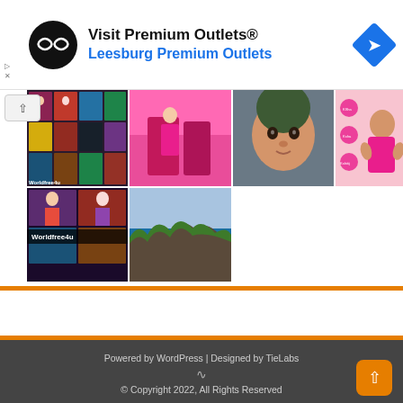[Figure (screenshot): Advertisement banner for Visit Premium Outlets - Leesburg Premium Outlets with circular black logo and blue navigation diamond icon]
[Figure (photo): Grid of thumbnail images including movie posters (Worldfree4u), pink room scene, baby close-up, baby in pink dress with polka dot background, and coastal aerial view]
Powered by WordPress | Designed by TieLabs
© Copyright 2022, All Rights Reserved